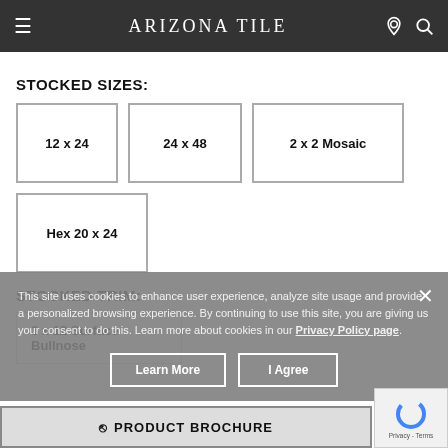ARIZONA TILE
STOCKED SIZES:
12 x 24
24 x 48
2 x 2 Mosaic
Hex 20 x 24
STOCKED TRIM:
3 x 12 Surface Bullnose
This site uses cookies to enhance user experience, analyze site usage and provide a personalized browsing experience. By continuing to use this site, you are giving us your consent to do this. Learn more about cookies in our Privacy Policy page.
PRODUCT BROCHURE